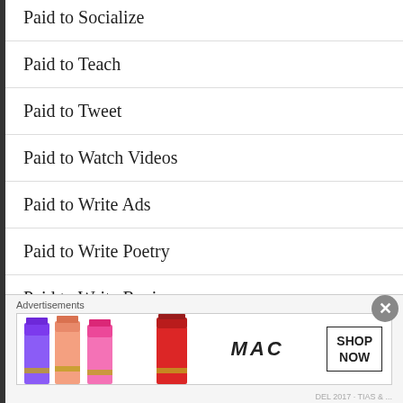Paid to Socialize
Paid to Teach
Paid to Tweet
Paid to Watch Videos
Paid to Write Ads
Paid to Write Poetry
Paid to Write Reviews
Paid to Write Video Reviews
Advertisements
[Figure (other): MAC cosmetics advertisement banner showing lipsticks and SHOP NOW button]